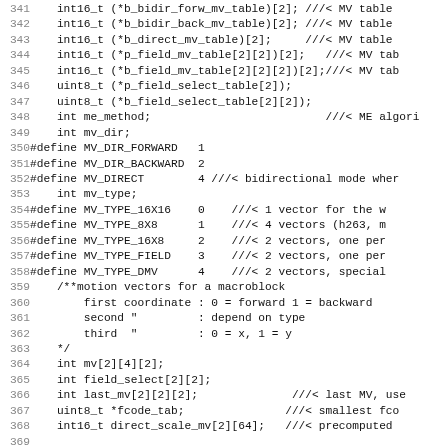Code listing lines 341-372 showing C struct members and #define macros for motion vector types and motion estimation context
341: int16_t (*b_bidir_forw_mv_table)[2]; ///< MV table
342: int16_t (*b_bidir_back_mv_table)[2]; ///< MV table
343: int16_t (*b_direct_mv_table)[2];      ///< MV table
344: int16_t (*p_field_mv_table[2][2])[2];   ///< MV tab
345: int16_t (*b_field_mv_table[2][2][2])[2];///< MV tab
346: uint8_t (*p_field_select_table[2]);
347: uint8_t (*b_field_select_table[2][2]);
348: int me_method;                          ///< ME algori
349: int mv_dir;
350: #define MV_DIR_FORWARD   1
351: #define MV_DIR_BACKWARD  2
352: #define MV_DIRECT        4 ///< bidirectional mode wher
353: int mv_type;
354: #define MV_TYPE_16X16    0    ///< 1 vector for the w
355: #define MV_TYPE_8X8      1    ///< 4 vectors (h263, m
356: #define MV_TYPE_16X8     2    ///< 2 vectors, one per
357: #define MV_TYPE_FIELD    3    ///< 2 vectors, one per
358: #define MV_TYPE_DMV      4    ///< 2 vectors, special
359: /**motion vectors for a macroblock
360:     first coordinate : 0 = forward 1 = backward
361:     second "        : depend on type
362:     third  "        : 0 = x, 1 = y
363: */
364: int mv[2][4][2];
365: int field_select[2][2];
366: int last_mv[2][2][2];              ///< last MV, use
367: uint8_t *fcode_tab;               ///< smallest fco
368: int16_t direct_scale_mv[2][64];   ///< precomputed
369:
370: MotionEstContext me;
371:
372: int no_rounding;  /**< apply no rounding to motion